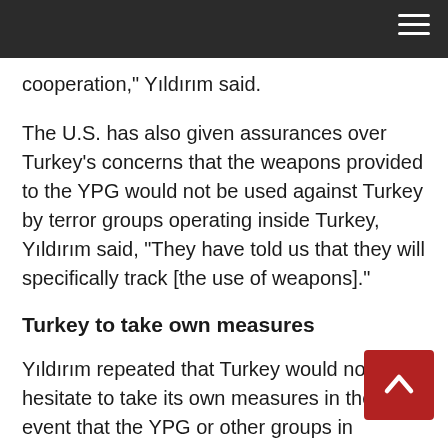cooperation," Yıldırım said.
The U.S. has also given assurances over Turkey's concerns that the weapons provided to the YPG would not be used against Turkey by terror groups operating inside Turkey, Yıldırım said, "They have told us that they will specifically track [the use of weapons]."
Turkey to take own measures
Yıldırım repeated that Turkey would not hesitate to take its own measures in the event that the YPG or other groups in